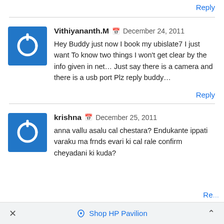Reply
Vithiyananth.M  December 24, 2011
Hey Buddy just now I book my ubislate7 I just want To know two things I won't get clear by the info given in net... Just say there is a camera and there is a usb port Plz reply buddy...
Reply
krishna  December 25, 2011
anna vallu asalu cal chestara? Endukante ippati varaku ma frnds evari ki cal rale confirm cheyadani ki kuda?
Re...
× Shop HP Pavilion ^